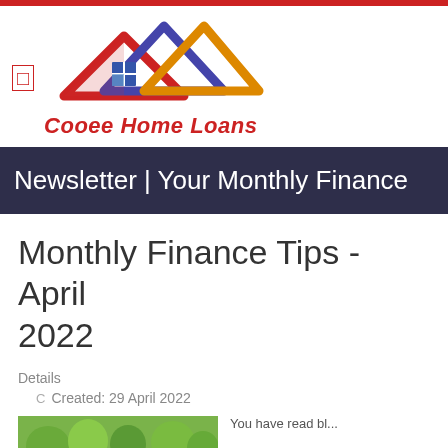[Figure (logo): Cooee Home Loans logo with house/roof shapes in red, blue/purple, and orange/yellow colors, with a blue grid window, and italic red bold text 'Cooee Home Loans']
Newsletter | Your Monthly Finance
Monthly Finance Tips - April 2022
Details
C   Created: 29 April 2022
[Figure (photo): Partial outdoor/nature photo at bottom left, green trees visible]